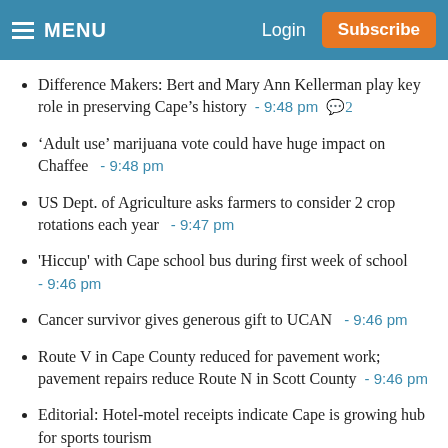MENU  Login  Subscribe
Difference Makers: Bert and Mary Ann Kellerman play key role in preserving Cape’s history - 9:48 pm 💬2
‘Adult use’ marijuana vote could have huge impact on Chaffee - 9:48 pm
US Dept. of Agriculture asks farmers to consider 2 crop rotations each year - 9:47 pm
'Hiccup' with Cape school bus during first week of school - 9:46 pm
Cancer survivor gives generous gift to UCAN - 9:46 pm
Route V in Cape County reduced for pavement work; pavement repairs reduce Route N in Scott County - 9:46 pm
Editorial: Hotel-motel receipts indicate Cape is growing hub for sports tourism
Mikhail Gorbachev, who steered Soviet Union breakup,